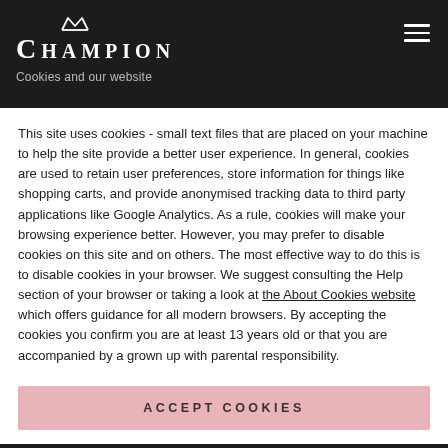CHAMPION
Cookies and our website
This site uses cookies - small text files that are placed on your machine to help the site provide a better user experience. In general, cookies are used to retain user preferences, store information for things like shopping carts, and provide anonymised tracking data to third party applications like Google Analytics. As a rule, cookies will make your browsing experience better. However, you may prefer to disable cookies on this site and on others. The most effective way to do this is to disable cookies in your browser. We suggest consulting the Help section of your browser or taking a look at the About Cookies website which offers guidance for all modern browsers. By accepting the cookies you confirm you are at least 13 years old or that you are accompanied by a grown up with parental responsibility.
ACCEPT COOKIES